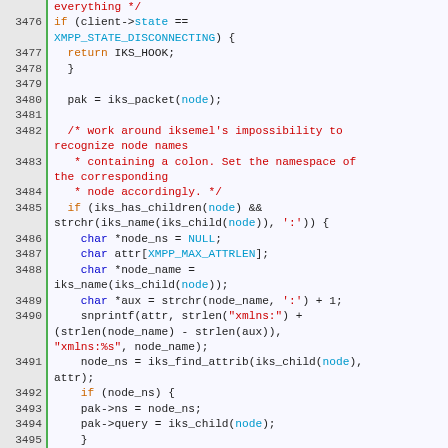[Figure (screenshot): Source code viewer showing C code lines 3476-3500 with syntax highlighting. Line numbers on left with green border, code on right with colored tokens (keywords in blue/orange, strings/comments in red, variables in cyan).]